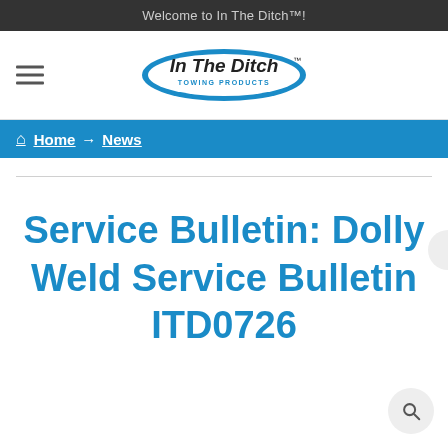Welcome to In The Ditch™!
[Figure (logo): In The Ditch Towing Products logo — white oval with italic text 'In The Ditch' and tagline 'TOWING PRODUCTS' below]
Home → News
Service Bulletin: Dolly Weld Service Bulletin ITD0726